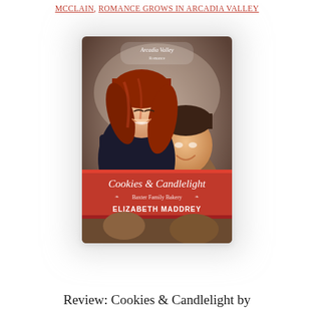MCCLAIN, ROMANCE GROWS IN ARCADIA VALLEY
[Figure (illustration): Book cover for 'Cookies & Candlelight' by Elizabeth Maddrey, Baxter Family Bakery series, part of Arcadia Valley Romance. Shows a smiling red-haired woman and a man in a bow tie on a red banner background.]
Review: Cookies & Candlelight by